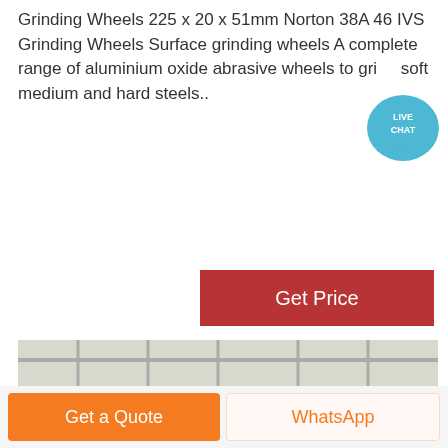Grinding Wheels 225 x 20 x 51mm Norton 38A 46 IVS Grinding Wheels Surface grinding wheels A complete range of aluminium oxide abrasive wheels to grind soft medium and hard steels..
[Figure (other): Live Chat badge — teal circular badge with speech bubble icon and text LIVE CHAT]
[Figure (other): Get Price button — dark red rectangular button with white text 'Get Price']
[Figure (photo): Industrial photo showing a large grey vertical grinding mill machine inside a factory/warehouse with metal truss ceiling, red accent rings on the machine, and other heavy equipment visible in the background. A blue banner with white text hangs in the background.]
[Figure (other): Bottom action bar with two buttons: orange 'Get a Quote' button on the left and white/orange 'WhatsApp' button on the right]